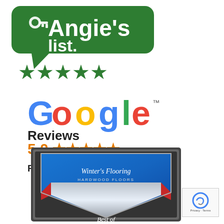[Figure (logo): Angie's List logo with green speech bubble and five green stars below]
[Figure (logo): Google Reviews logo with colorful Google text, 5.0 rating with orange stars, and 'Read Our Reviews' text]
[Figure (logo): Award badge for Winter's Flooring - Hardwood Floors, Best of award plaque with blue and silver chevron design]
[Figure (logo): Google reCAPTCHA widget in bottom right corner showing Privacy and Terms text]